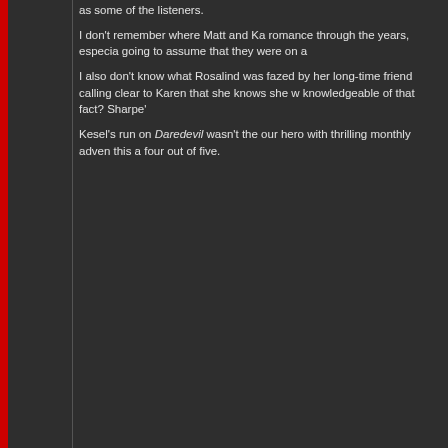as some of the listeners.

I don't remember where Matt and Ka romance through the years, especia going to assume that they were on a

I also don't know what Rosalind was fazed by her long-time friend calling clear to Karen that she knows she w knowledgeable of that fact? Sharpe'

Kesel's run on Daredevil wasn't the our hero with thrilling monthly adven this a four out of five.
Back to top
Mike Murdock
King of Hell's Kitchen

Joined: 08 Sep 2014
Posts: 1667
Posted: Mon Apr 15, 2019 7:39 pm   Po
In many ways, this is a day in the life wondering what Karen is doing. I like to his advantage. The two character a relationship built on trust and resp

We cut to Karen as Paige Angel on t how he's seen. It's also a good opp